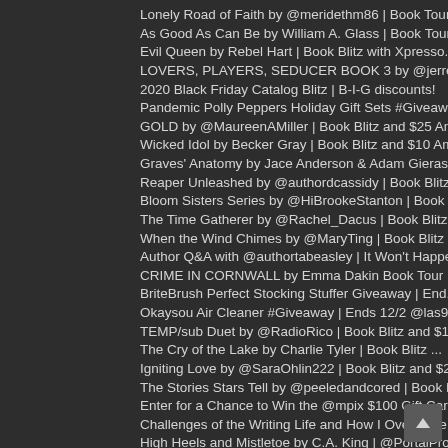Lonely Road of Faith by @meridethm86 | Book Tour a...
As Good As Can Be by William A. Glass | Book Tour ...
Evil Queen by Rebel Hart | Book Blitz with Xpresso...
LOVERS, PLAYERS, SEDUCER BOOK 3 by @jerreece | Boo...
2020 Black Friday Catalog Blitz | B-I-G discounts!
Pandemic Polly Peppers Holiday Gift Sets #Giveaway...
GOLD by @MaureenAMiller | Book Blitz and $25 Amazo...
Wicked Idol by Becker Gray | Book Blitz and $10 Am...
Graves' Anatomy by Jace Anderson & Adam Gierasch |...
Reaper Unleashed by @authordcassidy | Book Blitz a...
Bloom Sisters Series by @HiBrookeStanton | Book Bl...
The Time Gatherer by @Rachel_Dacus | Book Blitz an...
When the Wind Chimes by @MaryTing | Book Blitz and...
Author Q&A with @authortabeasley | It Won't Happen...
CRIME IN CORNWALL by Emma Dakin Book Tour | GREAT ...
BriteBrush Perfect Stocking Stuffer Giveaway | End...
Okaysou Air Cleaner #Giveaway | Ends 12/2 @las930 17
TEMP/sub Duet by @RadioRico | Book Blitz and $10 A...
The Cry of the Lake by Charlie Tyler | Book Blitz ...
Igniting Love by @SaraOhlin222 | Book Blitz and $2...
The Stories Stars Tell by @peeledandcored | Book B...
Enter for a Chance to Win the @mpix $100 Gift Card...
Challenges of the Writing Life and How I Overcome ...
High Heels and Mistletoe by C.A. King | @PortalPro...
Saving Bonnie by Sahara Roberts | Book Blitz with ...
Savage Beginnings by @AuthorJLBeck & @CassyHallman...
Office Grump by @NicoleSnowBooks | Book Blitz an
Let's Link Up! Traffic Jam Weekend Linky Party #25...